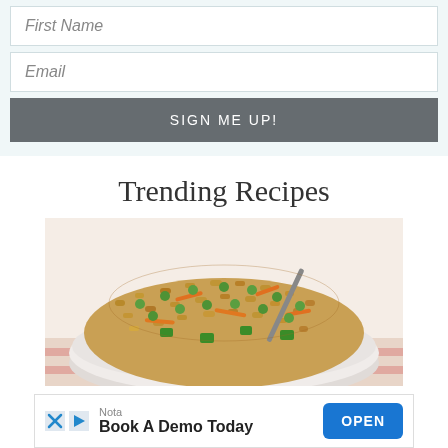First Name
Email
SIGN ME UP!
Trending Recipes
[Figure (photo): A white bowl filled with fried rice containing carrots, green peas, and green peppers, with a fork/spoon visible.]
Nota
Book A Demo Today
OPEN